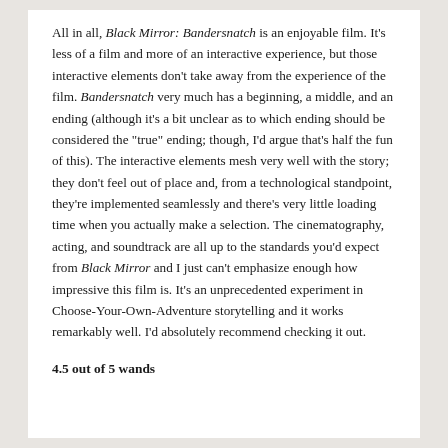All in all, Black Mirror: Bandersnatch is an enjoyable film. It's less of a film and more of an interactive experience, but those interactive elements don't take away from the experience of the film. Bandersnatch very much has a beginning, a middle, and an ending (although it's a bit unclear as to which ending should be considered the "true" ending; though, I'd argue that's half the fun of this). The interactive elements mesh very well with the story; they don't feel out of place and, from a technological standpoint, they're implemented seamlessly and there's very little loading time when you actually make a selection. The cinematography, acting, and soundtrack are all up to the standards you'd expect from Black Mirror and I just can't emphasize enough how impressive this film is. It's an unprecedented experiment in Choose-Your-Own-Adventure storytelling and it works remarkably well. I'd absolutely recommend checking it out.
4.5 out of 5 wands